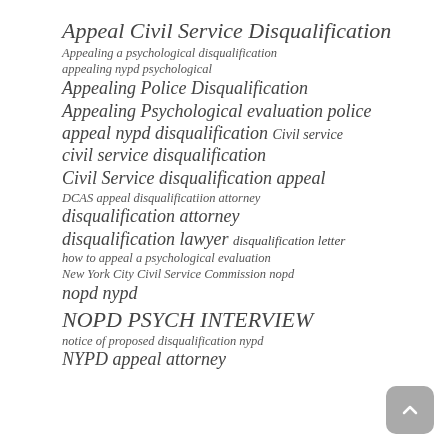Appeal Civil Service Disqualification
Appealing a psychological disqualification
appealing nypd psychological
Appealing Police Disqualification
Appealing Psychological evaluation police
appeal nypd disqualification Civil service
civil service disqualification
Civil Service disqualification appeal
DCAS appeal disqualificatiion attorney
disqualification attorney
disqualification lawyer disqualification letter
how to appeal a psychological evaluation
New York City Civil Service Commission nopd
nopd nypd
NOPD PSYCH INTERVIEW
notice of proposed disqualification nypd
NYPD appeal attorney